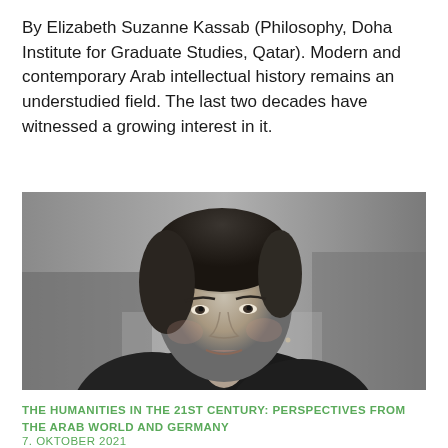By Elizabeth Suzanne Kassab (Philosophy, Doha Institute for Graduate Studies, Qatar). Modern and contemporary Arab intellectual history remains an understudied field. The last two decades have witnessed a growing interest in it.
[Figure (photo): Black and white portrait photograph of a middle-aged woman with short dark hair, smiling slightly, wearing a dark jacket, with a blurred outdoor background.]
THE HUMANITIES IN THE 21ST CENTURY: PERSPECTIVES FROM THE ARAB WORLD AND GERMANY
7. OKTOBER 2021